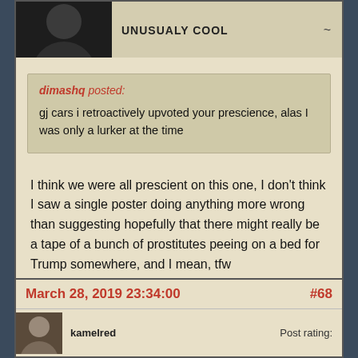UNUSUALY COOL
~
dimashq posted: gj cars i retroactively upvoted your prescience, alas I was only a lurker at the time
I think we were all prescient on this one, I don't think I saw a single poster doing anything more wrong than suggesting hopefully that there might really be a tape of a bunch of prostitutes peeing on a bed for Trump somewhere, and I mean, tfw
March 28, 2019 23:34:00
#68
kamelred
Post rating: